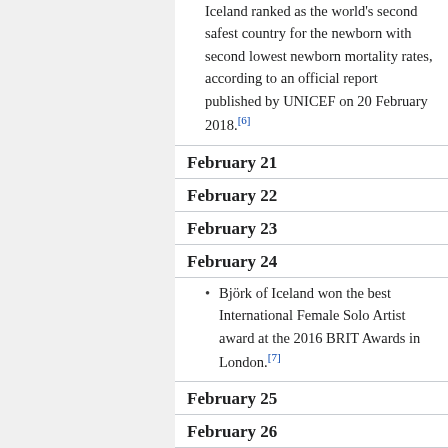Iceland ranked as the world's second safest country for the newborn with second lowest newborn mortality rates, according to an official report published by UNICEF on 20 February 2018.[6]
February 21
February 22
February 23
February 24
Björk of Iceland won the best International Female Solo Artist award at the 2016 BRIT Awards in London.[7]
February 25
February 26